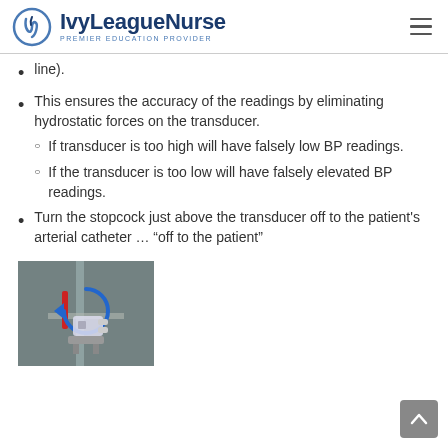IvyLeagueNurse — PREMIER EDUCATION PROVIDER
line).
This ensures the accuracy of the readings by eliminating hydrostatic forces on the transducer.
  ◦ If transducer is too high will have falsely low BP readings.
  ◦ If the transducer is too low will have falsely elevated BP readings.
Turn the stopcock just above the transducer off to the patient's arterial catheter … “off to the patient”
[Figure (photo): Photo of a medical stopcock/transducer assembly mounted on a pole, with a red indicator and blue arrow marking.]